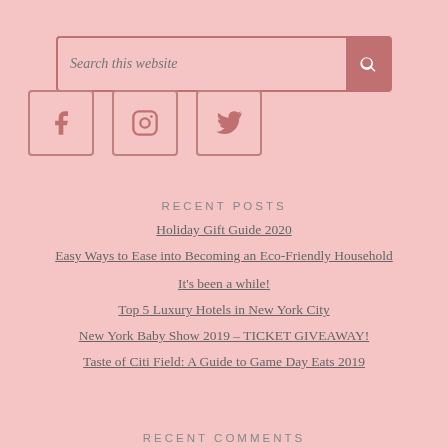[Figure (other): Search bar with placeholder text 'Search this website' and a search button with magnifying glass icon]
[Figure (other): Social media icons: Facebook, Instagram, Twitter in square bordered boxes]
RECENT POSTS
Holiday Gift Guide 2020
Easy Ways to Ease into Becoming an Eco-Friendly Household
It's been a while!
Top 5 Luxury Hotels in New York City
New York Baby Show 2019 – TICKET GIVEAWAY!
Taste of Citi Field: A Guide to Game Day Eats 2019
RECENT COMMENTS